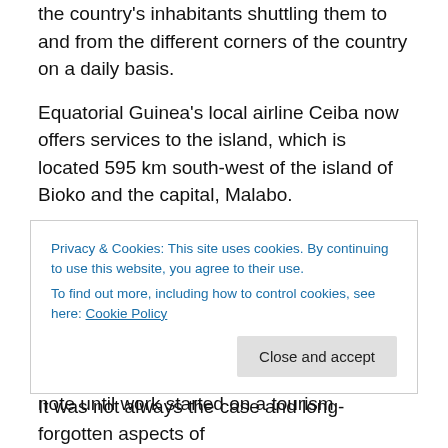the country's inhabitants shuttling them to and from the different corners of the country on a daily basis.
Equatorial Guinea's local airline Ceiba now offers services to the island, which is located 595 km south-west of the island of Bioko and the capital, Malabo.
Following a similar approach a runway and high-end beach villas are being built on Corisco in time for the Cup of Nations. While Annobon boasts a small local population of about 1,900, Corisco has had little development or human populations of note until work started on a tourism
Privacy & Cookies: This site uses cookies. By continuing to use this website, you agree to their use.
To find out more, including how to control cookies, see here: Cookie Policy
It was not always the case and long-forgotten aspects of